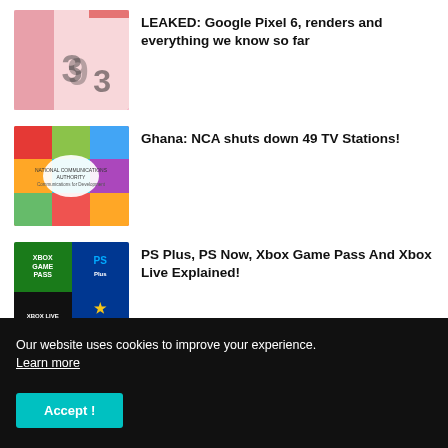[Figure (photo): Google Pixel 6 smartphone render showing the device at an angle with a pink/coral color scheme]
LEAKED: Google Pixel 6, renders and everything we know so far
[Figure (photo): Ghana NCA (National Communications Authority) logo image with colorful grid of TV channel logos]
Ghana: NCA shuts down 49 TV Stations!
[Figure (photo): Collage of gaming subscription service logos: Xbox Game Pass, PlayStation Plus, Xbox Live, PS Now]
PS Plus, PS Now, Xbox Game Pass And Xbox Live Explained!
SEARCH THIS BLOG
Our website uses cookies to improve your experience. Learn more
Accept !